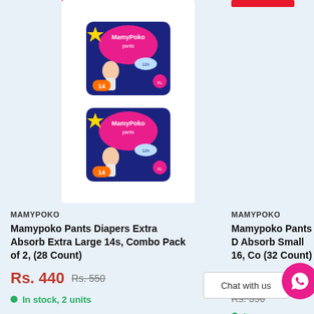[Figure (photo): Two MamyPoko Pants Diapers Extra Absorb Extra Large 14s packages stacked vertically on white background]
MAMYPOKO
Mamypoko Pants Diapers Extra Absorb Extra Large 14s, Combo Pack of 2, (28 Count)
Rs. 440  Rs. 550
In stock, 2 units
MAMYPOKO
Mamypoko Pants D Absorb Small 16, Co (32 Count)
Rs. 312  Rs. 390
Chat with us